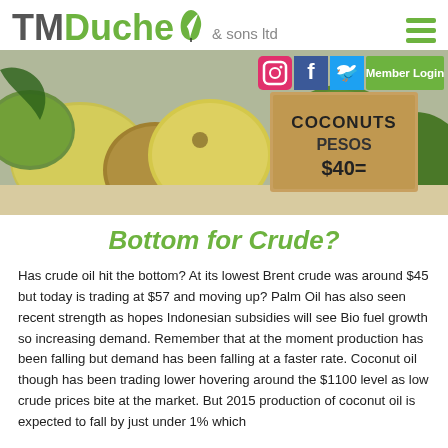[Figure (logo): TMDuche & sons ltd logo with green leaf icon and hamburger menu]
[Figure (photo): Hero banner photo of green and yellow coconuts at a market with a sign reading COCONUTS PESOS $40, with social media icons (Instagram, Facebook, Twitter) and Member Login button overlaid]
Bottom for Crude?
Has crude oil hit the bottom? At its lowest Brent crude was around $45 but today is trading at $57 and moving up? Palm Oil has also seen recent strength as hopes Indonesian subsidies will see Bio fuel growth so increasing demand. Remember that at the moment production has been falling but demand has been falling at a faster rate. Coconut oil though has been trading lower hovering around the $1100 level as low crude prices bite at the market. But 2015 production of coconut oil is expected to fall by just under 1% which